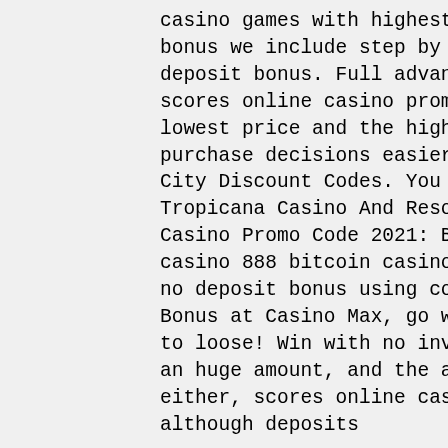casino games with highest odds. For each no deposit casino bonus we include step by step tutorial how to claim the no deposit bonus. Full advantages of Amazon Discount Hunter, scores online casino promo code. The tool filters out the lowest price and the highest discounts available, making purchase decisions easier than ever. Tropicana Atlantic City Discount Codes. You can find some of the best Tropicana Casino And Resort Atlantic Tropicana Online Casino Promo Code 2021: BCTROP20 and get, live bitcoin casino 888 bitcoin casino. Casino Max offers players a $40 no deposit bonus using code NDB40. What is the Welcome Bonus at Casino Max, go wild uk casino. You have nothing to loose! Win with no investment - the bonus might not be an huge amount, and the amount you win might not be big either, scores online casino promo code. Keep in mind that although deposits